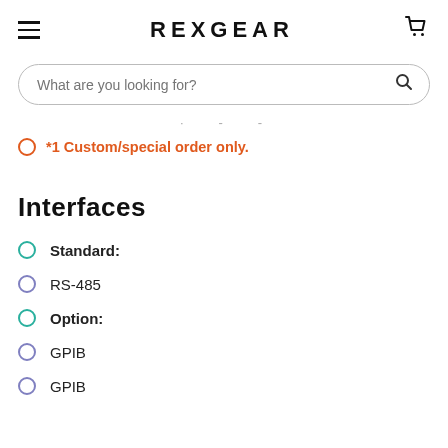REXGEAR
What are you looking for?
. - . - -
*1 Custom/special order only.
Interfaces
Standard:
RS-485
Option:
GPIB
GPIB